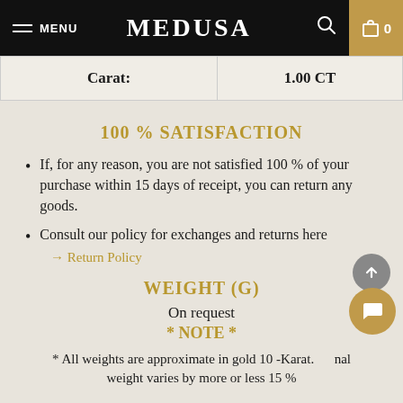MENU  MEDUSA  0
| Carat: | 1.00 CT |
| --- | --- |
100 % SATISFACTION
If, for any reason, you are not satisfied 100 % of your purchase within 15 days of receipt, you can return any goods.
Consult our policy for exchanges and returns here → Return Policy
WEIGHT (G)
On request
* NOTE *
* All weights are approximate in gold 10 -Karat. The actual weight varies by more or less 15 %